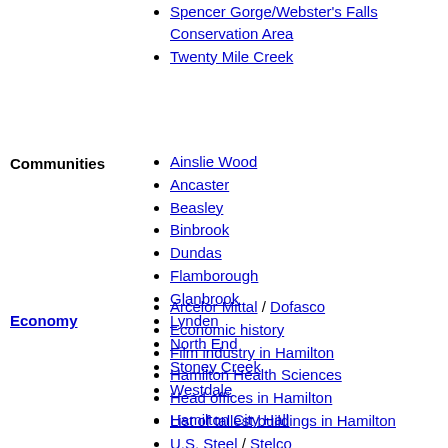Spencer Gorge/Webster's Falls Conservation Area
Twenty Mile Creek
Communities
Ainslie Wood
Ancaster
Beasley
Binbrook
Dundas
Flamborough
Glanbrook
Lynden
North End
Stoney Creek
Westdale
Economy
Arcelor Mittal / Dofasco
Economic history
Film industry in Hamilton
Hamilton Health Sciences
Head offices in Hamilton
List of tallest buildings in Hamilton
U.S. Steel / Stelco
Hamilton City Hall